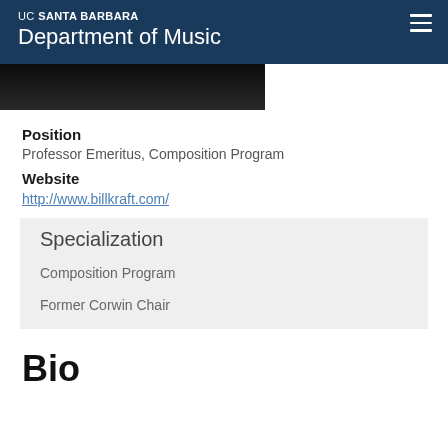UC SANTA BARBARA Department of Music
[Figure (photo): Partial black and white photo of a person, cropped at top]
Position
Professor Emeritus, Composition Program
Website
http://www.billkraft.com/
Specialization
Composition Program
Former Corwin Chair
Bio